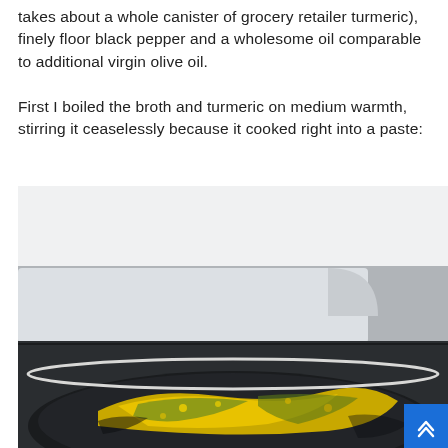takes about a whole canister of grocery retailer turmeric), finely floor black pepper and a wholesome oil comparable to additional virgin olive oil.

First I boiled the broth and turmeric on medium warmth, stirring it ceaselessly because it cooked right into a paste:
[Figure (photo): A dark non-stick frying pan on a stovetop showing yellow-green turmeric paste spread across the bottom of the pan, with a white kitchen appliance (stove) visible in the background.]